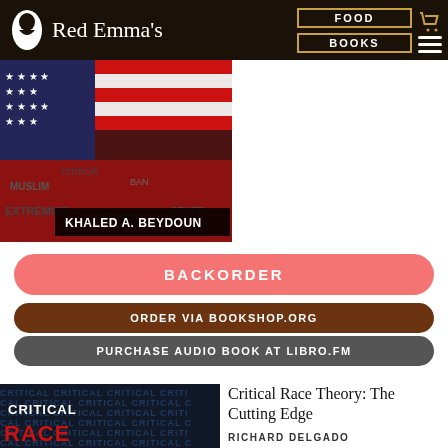Red Emma's — FOOD | BOOKS
[Figure (photo): Book cover photo partially visible: person draped in American flag with text overlays including KHALED A. BEYDOUN]
BACKORDER
ORDER VIA BOOKSHOP.ORG
PURCHASE AUDIO BOOK AT LIBRO.FM
[Figure (photo): Book cover for Critical Race Theory: The Cutting Edge showing repeated text 'CRITICAL' pattern with red RACE text]
Critical Race Theory: The Cutting Edge
RICHARD DELGADO
$25.95